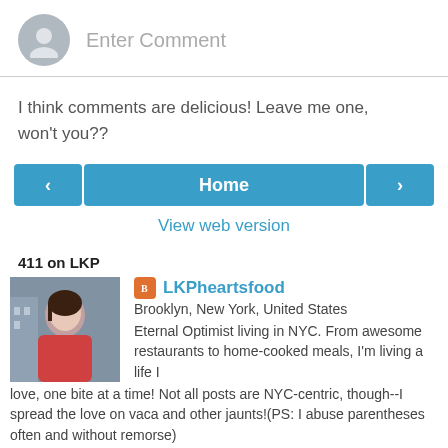Enter Comment
I think comments are delicious! Leave me one, won't you??
Home
View web version
411 on LKP
[Figure (photo): Profile photo of a woman with dark hair wearing a red/pink jacket, standing in front of a building]
LKPheartsfood
Brooklyn, New York, United States
Eternal Optimist living in NYC. From awesome restaurants to home-cooked meals, I'm living a life I love, one bite at a time! Not all posts are NYC-centric, though--I spread the love on vaca and other jaunts!(PS: I abuse parentheses often and without remorse)